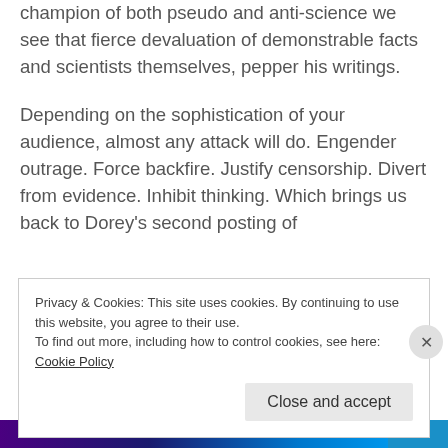champion of both pseudo and anti-science we see that fierce devaluation of demonstrable facts and scientists themselves, pepper his writings.

Depending on the sophistication of your audience, almost any attack will do. Engender outrage. Force backfire. Justify censorship. Divert from evidence. Inhibit thinking. Which brings us back to Dorey's second posting of
Privacy & Cookies: This site uses cookies. By continuing to use this website, you agree to their use.
To find out more, including how to control cookies, see here:
Cookie Policy
Close and accept